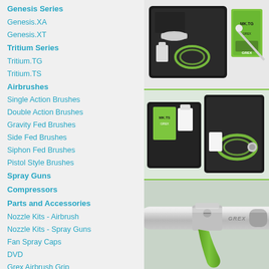Genesis Series
Genesis.XA
Genesis.XT
Tritium Series
Tritium.TG
Tritium.TS
Airbrushes
Single Action Brushes
Double Action Brushes
Gravity Fed Brushes
Side Fed Brushes
Siphon Fed Brushes
Pistol Style Brushes
Spray Guns
Compressors
Parts and Accessories
Nozzle Kits - Airbrush
Nozzle Kits - Spray Guns
Fan Spray Caps
DVD
Grex Airbrush Grip
Air Hoses
Quick Connects
Adaptors
Cups and Bottles
Holders
Cleaning and Maintenance
[Figure (photo): Grex airbrush kit in black case with green accents, product box visible]
[Figure (photo): Grex airbrush kit open case showing airbrush, hose and accessories]
[Figure (photo): Close-up of Grex airbrush grip in chrome and green]